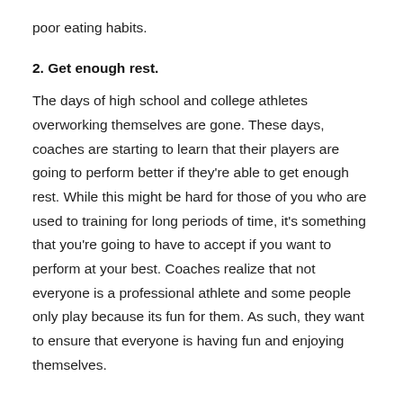poor eating habits.
2. Get enough rest.
The days of high school and college athletes overworking themselves are gone. These days, coaches are starting to learn that their players are going to perform better if they're able to get enough rest. While this might be hard for those of you who are used to training for long periods of time, it's something that you're going to have to accept if you want to perform at your best. Coaches realize that not everyone is a professional athlete and some people only play because its fun for them. As such, they want to ensure that everyone is having fun and enjoying themselves.